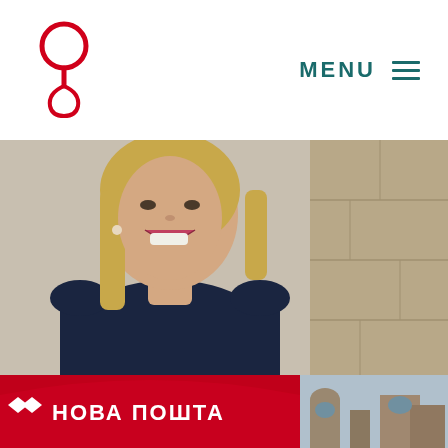[Figure (logo): Red stylized circular logo with letter forms, resembling a lightbulb or person shape]
MENU ≡
[Figure (photo): Portrait photo of a smiling blonde woman in a black sleeveless dress leaning against a stone wall]
[Figure (photo): Bottom left: Red banner/arch with white Cyrillic text 'НОВА ПОШТА' (Nova Poshta) with logo arrows; Bottom right: outdoor architectural scene with bluish sky]